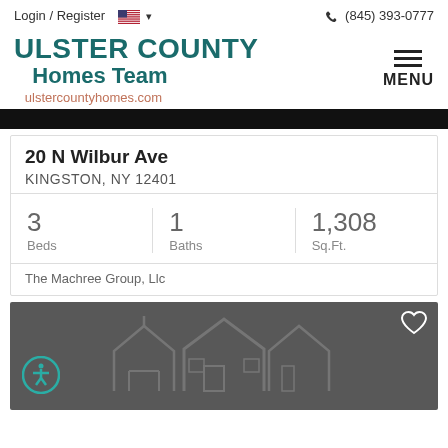Login / Register  (845) 393-0777
[Figure (logo): Ulster County Homes Team logo with text: ULSTER COUNTY Homes Team, ulstercountyhomes.com]
20 N Wilbur Ave
KINGSTON, NY 12401
| Beds | Baths | Sq.Ft. |
| --- | --- | --- |
| 3 | 1 | 1,308 |
The Machree Group, Llc
[Figure (photo): Dark gray photo area showing a faint outline of a house, with a heart/favorite icon in top right and an accessibility icon in bottom left]